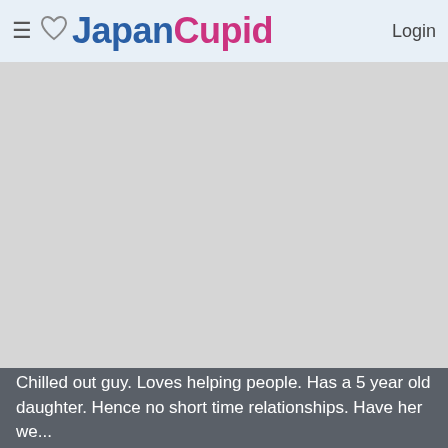JapanCupid Login
[Figure (photo): Large gray placeholder image area, likely a profile photo that has not loaded]
Chilled out guy. Loves helping people. Has a 5 year old daughter. Hence no short time relationships. Have her we...